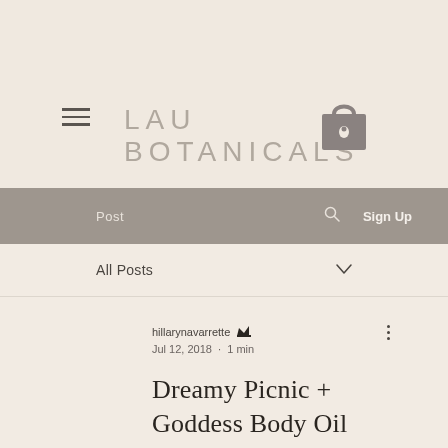LAU BOTANICALS
Post  Sign Up
All Posts
hillarynavarrette  Jul 12, 2018 · 1 min
Dreamy Picnic + Goddess Body Oil